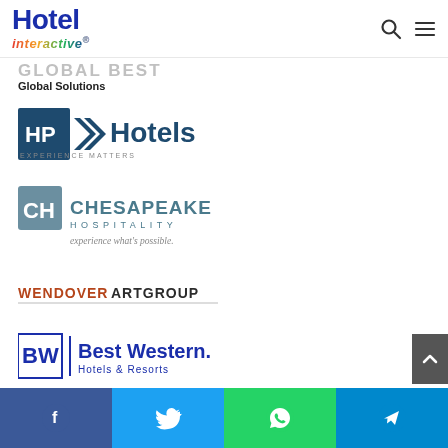Hotel interactive (logo with search and menu icons)
[Figure (logo): Partial faded logo with text 'Global Solutions' below]
[Figure (logo): HP Hotels - Experience Matters logo]
[Figure (logo): Chesapeake Hospitality logo with tagline 'experience what's possible.']
[Figure (logo): Wendover Art Group logo]
[Figure (logo): Best Western Hotels & Resorts logo]
Facebook | Twitter | WhatsApp | Telegram social share bar